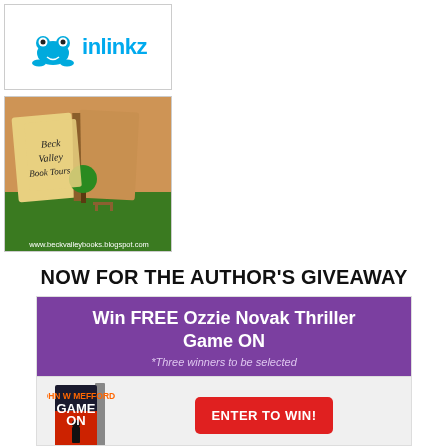[Figure (logo): InLinkz logo with blue frog and stylized text 'inlinkz' in cyan/blue, inside a bordered box]
[Figure (illustration): Beck Valley Book Tours logo — open book with trees and landscape, text overlay 'Beck Valley Book Tours', URL www.beckvalleybooks.blogspot.com]
NOW FOR THE AUTHOR'S GIVEAWAY
[Figure (infographic): Giveaway widget with purple header 'Win FREE Ozzie Novak Thriller Game ON' and subtitle '*Three winners to be selected', body shows book cover of Game ON by John W Mefford and a red 'ENTER TO WIN!' button]